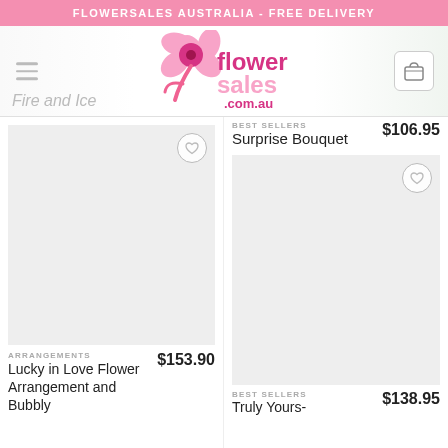FLOWERSALES AUSTRALIA - FREE DELIVERY
[Figure (logo): FlowerSales.com.au logo with pink flower and pink/magenta text]
Fire and Ice
BEST SELLERS  $106.95  Surprise Bouquet
[Figure (photo): Product image placeholder for Lucky in Love Flower Arrangement and Bubbly]
ARRANGEMENTS  $153.90  Lucky in Love Flower Arrangement and Bubbly
[Figure (photo): Product image placeholder for second best seller item]
BEST SELLERS  $138.95  Truly Yours-